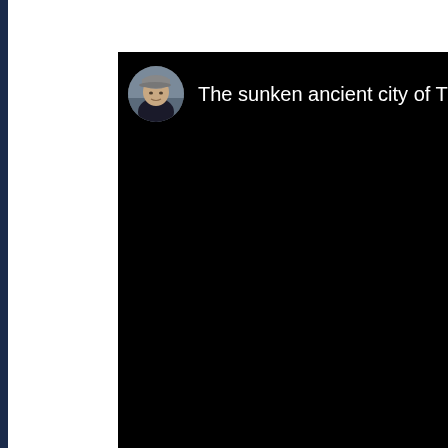[Figure (screenshot): A dark/black content area (likely a video player or app interface) with a circular user avatar on the left showing a man wearing a cap, and partial title text reading 'The sunken ancient city of Thonis-' in white on a black background.]